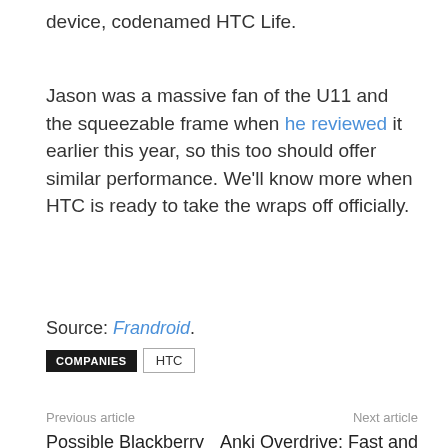device, codenamed HTC Life.
Jason was a massive fan of the U11 and the squeezable frame when he reviewed it earlier this year, so this too should offer similar performance. We'll know more when HTC is ready to take the wraps off officially.
Source: Frandroid.
COMPANIES  HTC
Previous article
Possible Blackberry ‘Krypton’ shows up in the wild
Next article
Anki Overdrive: Fast and Furious is slot cars for the kids of today